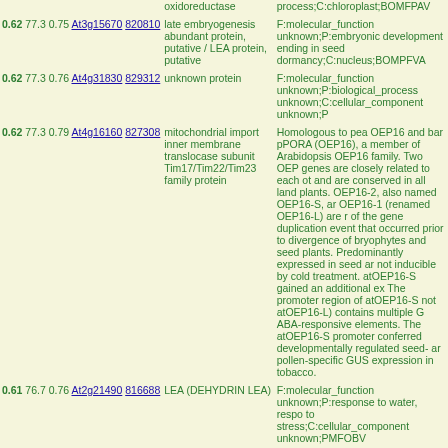| Score/Stats | Gene Links | Description | GO Annotation |
| --- | --- | --- | --- |
| 0.62  77.3  0.75 | At3g15670  820810 | late embryogenesis abundant protein, putative / LEA protein, putative | F:molecular_function unknown;P:embryonic development ending in seed dormancy;C:nucleus;BOMPFVA |
| 0.62  77.3  0.76 | At4g31830  829312 | unknown protein | F:molecular_function unknown;P:biological_process unknown;C:cellular_component unknown;P |
| 0.62  77.3  0.79 | At4g16160  827308 | mitochondrial import inner membrane translocase subunit Tim17/Tim22/Tim23 family protein | Homologous to pea OEP16 and barley pPORA (OEP16), a member of Arabidopsis OEP16 family. Two OEP genes are closely related to each other and are conserved in all land plants. OEP16-2, also named OEP16-S, and OEP16-1 (renamed OEP16-L) are result of the gene duplication event that occurred prior to divergence of bryophytes and seed plants. Predominantly expressed in seed and not inducible by cold treatment. atOEP16-S gained an additional exon. The promoter region of atOEP16-S (but not atOEP16-L) contains multiple G-ABA-responsive elements. The atOEP16-S promoter conferred developmentally regulated seed- and pollen-specific GUS expression in tobacco. |
| 0.61  76.7  0.76 | At2g21490  816688 | LEA (DEHYDRIN LEA) | F:molecular_function unknown;P:response to water, response to stress;C:cellular_component unknown;PMFOBV |
Click More genes
Link to AtGenExpress Visualization Tool